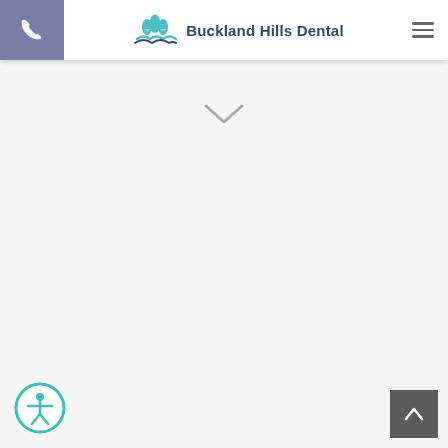Buckland Hills Dental
[Figure (screenshot): Chevron/down arrow indicator in gray]
[Figure (logo): Accessibility icon - person in circle with teal border]
[Figure (other): Back to top button - dark gray square with white upward chevron]